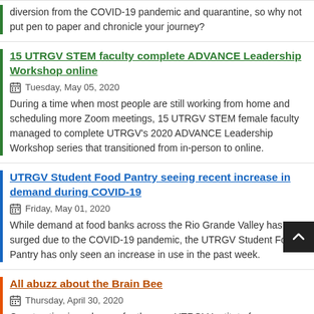diversion from the COVID-19 pandemic and quarantine, so why not put pen to paper and chronicle your journey?
15 UTRGV STEM faculty complete ADVANCE Leadership Workshop online
Tuesday, May 05, 2020
During a time when most people are still working from home and scheduling more Zoom meetings, 15 UTRGV STEM female faculty managed to complete UTRGV's 2020 ADVANCE Leadership Workshop series that transitioned from in-person to online.
UTRGV Student Food Pantry seeing recent increase in demand during COVID-19
Friday, May 01, 2020
While demand at food banks across the Rio Grande Valley has surged due to the COVID-19 pandemic, the UTRGV Student Food Pantry has only seen an increase in use in the past week.
All abuzz about the Brain Bee
Thursday, April 30, 2020
Construction is underway for the new UTRGV Institute for